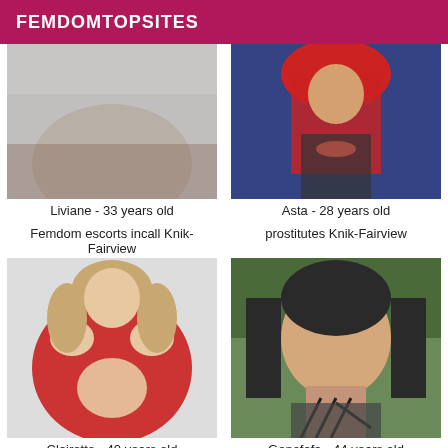FEMDOMTOPSITES
[Figure (photo): Photo of Liviane, blurry close-up skin/body shot, gray tones]
[Figure (photo): Photo of Asta, woman with long red hair and tattoos, blue background]
Liviane - 33 years old
Asta - 28 years old
Femdom escorts incall Knik-Fairview
prostitutes Knik-Fairview
[Figure (photo): Photo of Clairette, woman in red dress lifting it up]
[Figure (photo): Photo of Genofefa, heavyset woman with dark hair and strappy top]
Clairette - 40 years old
Genofefa - 44 years old